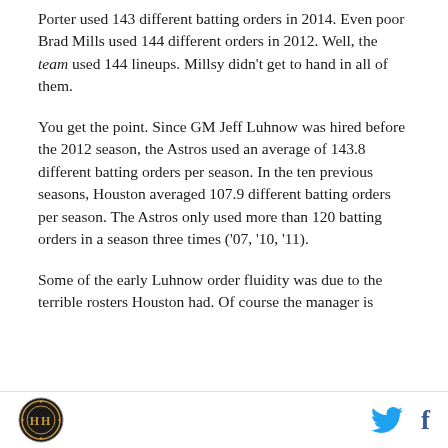Porter used 143 different batting orders in 2014. Even poor Brad Mills used 144 different orders in 2012. Well, the team used 144 lineups. Millsy didn't get to hand in all of them.
You get the point. Since GM Jeff Luhnow was hired before the 2012 season, the Astros used an average of 143.8 different batting orders per season. In the ten previous seasons, Houston averaged 107.9 different batting orders per season. The Astros only used more than 120 batting orders in a season three times ('07, '10, '11).
Some of the early Luhnow order fluidity was due to the terrible rosters Houston had. Of course the manager is
[logo] [twitter] [facebook]